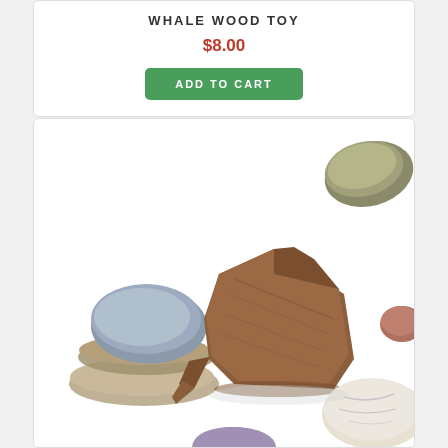WHALE WOOD TOY
$8.00
ADD TO CART
[Figure (photo): A wooden whale toy carved from walnut wood, surrounded by various river stones and pebbles of different colors and sizes on a white background.]